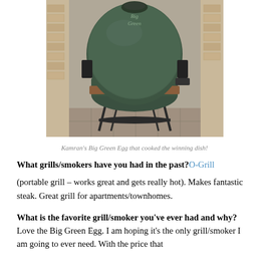[Figure (photo): Photo of Kamran's Big Green Egg kamado-style ceramic grill/smoker on a metal stand, viewed from the side, on a paved outdoor surface]
Kamran's Big Green Egg that cooked the winning dish!
What grills/smokers have you had in the past? O-Grill (portable grill – works great and gets really hot). Makes fantastic steak. Great grill for apartments/townhomes.
What is the favorite grill/smoker you've ever had and why? Love the Big Green Egg. I am hoping it's the only grill/smoker I am going to ever need. With the price that